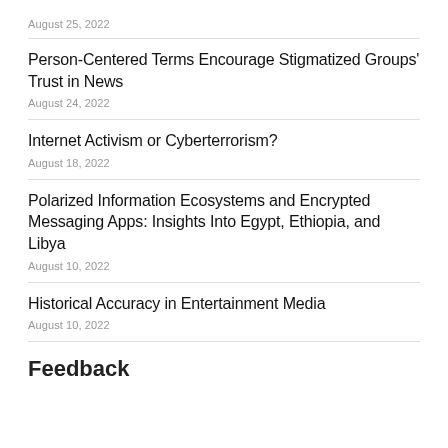August 25, 2022
Person-Centered Terms Encourage Stigmatized Groups’ Trust in News
August 24, 2022
Internet Activism or Cyberterrorism?
August 18, 2022
Polarized Information Ecosystems and Encrypted Messaging Apps: Insights Into Egypt, Ethiopia, and Libya
August 10, 2022
Historical Accuracy in Entertainment Media
August 10, 2022
Feedback